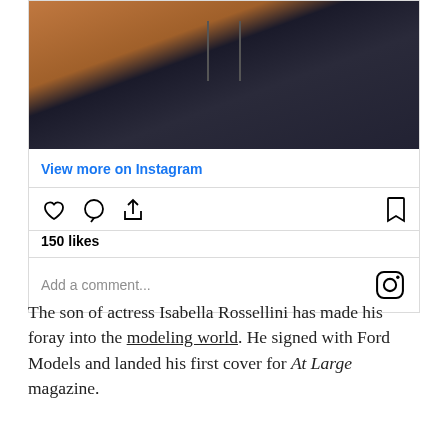[Figure (photo): Partial photo of a person wearing a brown leather jacket over a dark navy/black top with a zipper visible]
View more on Instagram
[Figure (infographic): Instagram action icons: heart (like), speech bubble (comment), share arrow, and bookmark icon. Shows 150 likes. Comment input field and Instagram logo icon.]
150 likes
The son of actress Isabella Rossellini has made his foray into the modeling world. He signed with Ford Models and landed his first cover for At Large magazine.